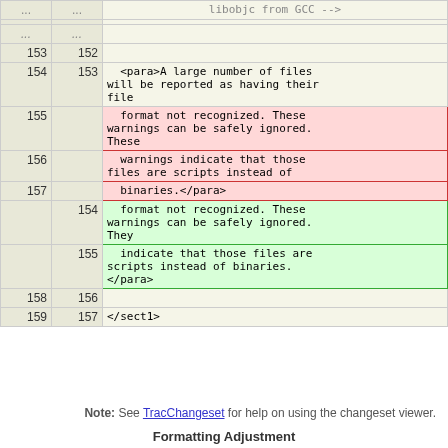| Old Line | New Line | Content |
| --- | --- | --- |
| ... | ... |  |
| 153 | 152 |  |
| 154 | 153 | <para>A large number of files will be reported as having their file |
| 155 |  | format not recognized. These warnings can be safely ignored. These |
| 156 |  |   warnings indicate that those files are scripts instead of |
| 157 |  |   binaries.</para> |
|  | 154 | format not recognized. These warnings can be safely ignored. They |
|  | 155 |   indicate that those files are scripts instead of binaries.
</para> |
| 158 | 156 |  |
| 159 | 157 | </sect1> |
Note: See TracChangeset for help on using the changeset viewer.